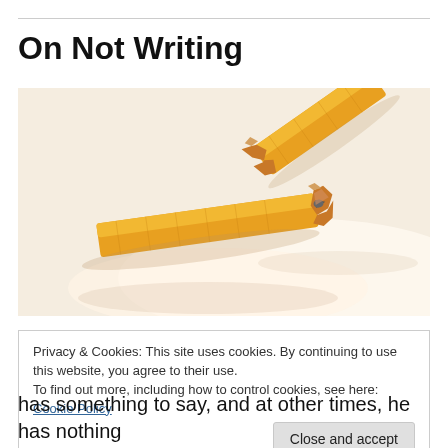On Not Writing
[Figure (photo): Close-up photo of a broken pencil — two pieces showing the snapped wood and graphite tip on a white background]
Privacy & Cookies: This site uses cookies. By continuing to use this website, you agree to their use.
To find out more, including how to control cookies, see here: Cookie Policy
Close and accept
has something to say, and at other times, he has nothing